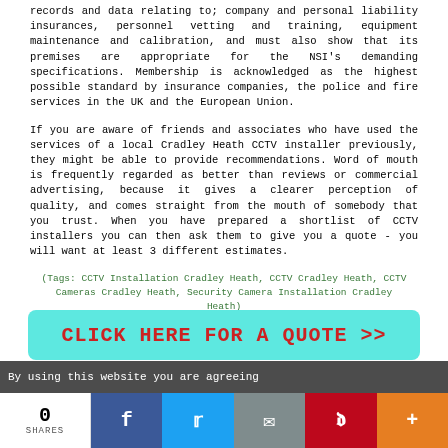records and data relating to; company and personal liability insurances, personnel vetting and training, equipment maintenance and calibration, and must also show that its premises are appropriate for the NSI's demanding specifications. Membership is acknowledged as the highest possible standard by insurance companies, the police and fire services in the UK and the European Union.
If you are aware of friends and associates who have used the services of a local Cradley Heath CCTV installer previously, they might be able to provide recommendations. Word of mouth is frequently regarded as better than reviews or commercial advertising, because it gives a clearer perception of quality, and comes straight from the mouth of somebody that you trust. When you have prepared a shortlist of CCTV installers you can then ask them to give you a quote - you will want at least 3 different estimates.
(Tags: CCTV Installation Cradley Heath, CCTV Cradley Heath, CCTV Cameras Cradley Heath, Security Camera Installation Cradley Heath)
[Figure (infographic): Teal/cyan rounded rectangle button with bold red text: CLICK HERE FOR A QUOTE >>]
By using this website you are agreeing
0 SHARES | Facebook | Twitter | Email | Pinterest | More